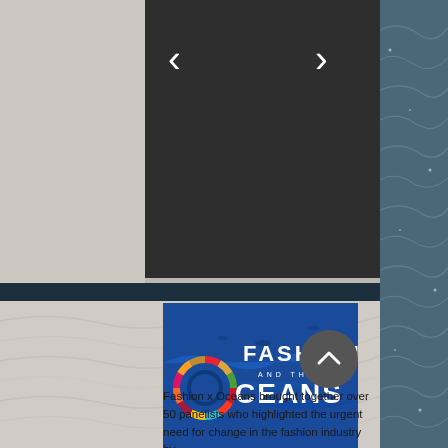[Figure (screenshot): Dark slideshow panel with left and right navigation arrows on a gray page background]
[Figure (illustration): Fashion and the Oceans event logo on a blue ocean background with SDG colorful wheel forming the letter O]
[Figure (photo): Ocean/sea water surface texture visible on the right side of the page]
Fashion x Oceans brought together over 50 panelists who highlighted the urgent need for change in the fashion industry by